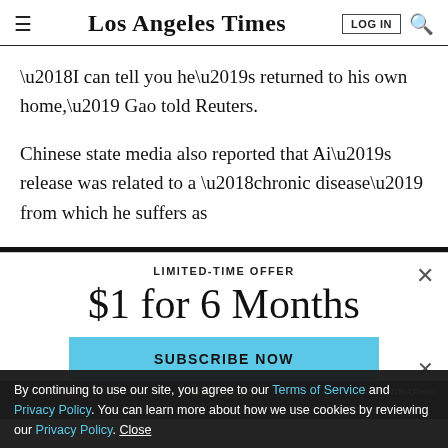Los Angeles Times
‘I can tell you he’s returned to his own home,’ Gao told Reuters.
Chinese state media also reported that Ai’s release was related to a ‘chronic disease’ from which he suffers as
[Figure (screenshot): Paywall modal overlay showing LIMITED-TIME OFFER: $1 for 6 Months with SUBSCRIBE NOW button in blue]
By continuing to use our site, you agree to our Terms of Service and Privacy Policy. You can learn more about how we use cookies by reviewing our Privacy Policy. Close